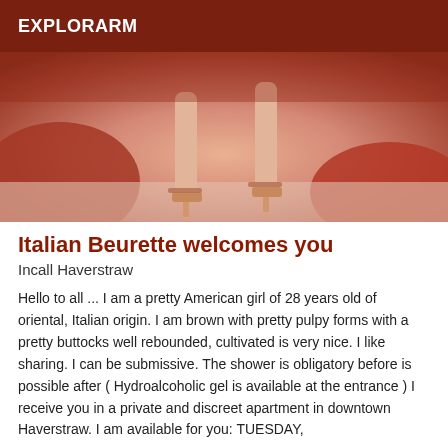EXPLORARM
[Figure (photo): Cropped photo showing legs in high heels with red/warm toned background]
Italian Beurette welcomes you
Incall Haverstraw
Hello to all ... I am a pretty American girl of 28 years old of oriental, Italian origin. I am brown with pretty pulpy forms with a pretty buttocks well rebounded, cultivated is very nice. I like sharing. I can be submissive. The shower is obligatory before is possible after ( Hydroalcoholic gel is available at the entrance ) I receive you in a private and discreet apartment in downtown Haverstraw. I am available for you: TUESDAY,